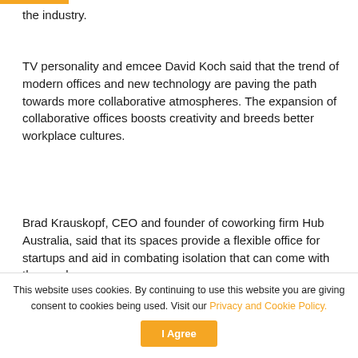the industry.
TV personality and emcee David Koch said that the trend of modern offices and new technology are paving the path towards more collaborative atmospheres. The expansion of collaborative offices boosts creativity and breeds better workplace cultures.
Brad Krauskopf, CEO and founder of coworking firm Hub Australia, said that its spaces provide a flexible office for startups and aid in combating isolation that can come with these roles.
[Figure (other): Advertisement banner showing 'Clay' logo on grey background on left, and a green background with dark object on right]
This website uses cookies. By continuing to use this website you are giving consent to cookies being used. Visit our Privacy and Cookie Policy.
I Agree